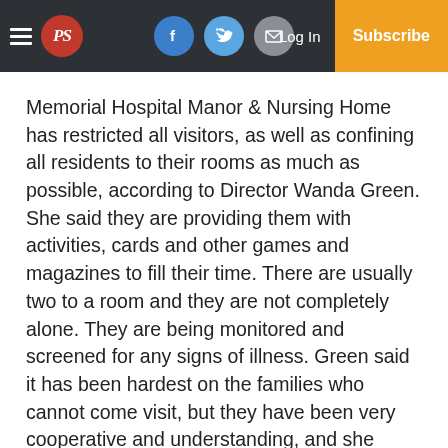PS | Log In | Subscribe
Memorial Hospital Manor & Nursing Home has restricted all visitors, as well as confining all residents to their rooms as much as possible, according to Director Wanda Green. She said they are providing them with activities, cards and other games and magazines to fill their time. There are usually two to a room and they are not completely alone. They are being monitored and screened for any signs of illness. Green said it has been hardest on the families who cannot come visit, but they have been very cooperative and understanding, and she believes the residents are feeling safe there.